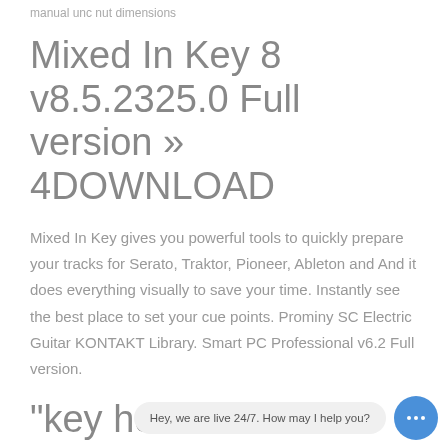manual unc nut dimensions
Mixed In Key 8 v8.5.2325.0 Full version » 4DOWNLOAD
Mixed In Key gives you powerful tools to quickly prepare your tracks for Serato, Traktor, Pioneer, Ableton and And it does everything visually to save your time. Instantly see the best place to set your cue points. Prominy SC Electric Guitar KONTAKT Library. Smart PC Professional v6.2 Full version.
"key holder" 3D Models to Print
1919 "key holder" 3D Models. Every Day new 3D Models